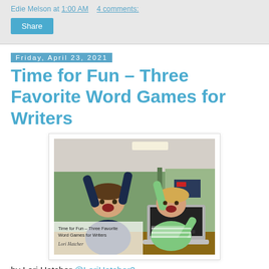Edie Melson at 1:00 AM   4 comments:
Share
Friday, April 23, 2021
Time for Fun – Three Favorite Word Games for Writers
[Figure (photo): Two excited children with arms raised in front of a laptop, with text overlay reading 'Time for Fun – Three Favorite Word Games for Writers' and signature 'Lori Hatcher']
by Lori Hatcher @LoriHatcher2
Are you sick of COVID (no pun intended), Cancel Culture,